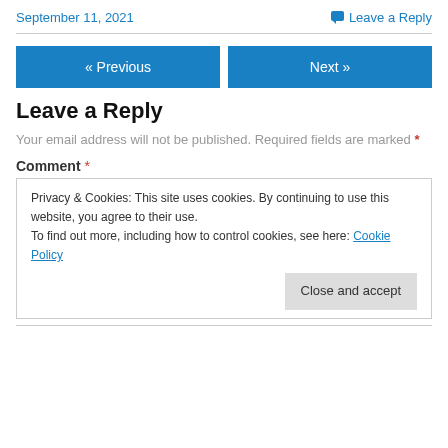September 11, 2021   Leave a Reply
« Previous   Next »
Leave a Reply
Your email address will not be published. Required fields are marked *
Comment *
Privacy & Cookies: This site uses cookies. By continuing to use this website, you agree to their use.
To find out more, including how to control cookies, see here: Cookie Policy
Close and accept